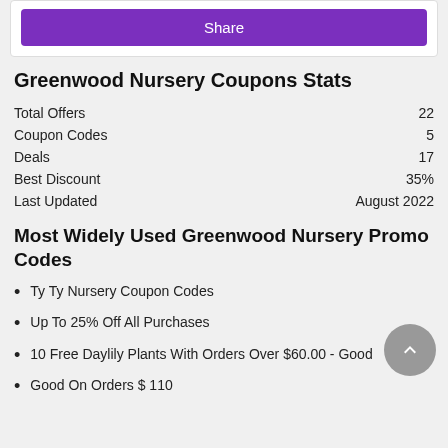[Figure (other): Share button - purple rounded rectangle button with white text 'Share']
Greenwood Nursery Coupons Stats
| Total Offers | 22 |
| Coupon Codes | 5 |
| Deals | 17 |
| Best Discount | 35% |
| Last Updated | August 2022 |
Most Widely Used Greenwood Nursery Promo Codes
Ty Ty Nursery Coupon Codes
Up To 25% Off All Purchases
10 Free Daylily Plants With Orders Over $60.00 - Good
Good On Orders $ 110